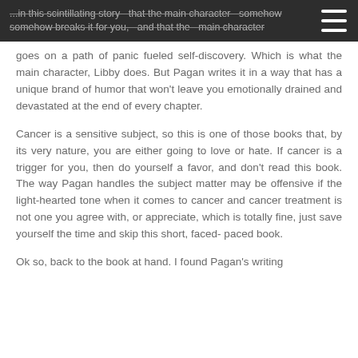...in this scintillating story that the main character somehow breaks it for you, and that the main character goes on a path of panic fueled self-discovery. Which is what the main character, Libby does. But Pagan writes it in a way that has a unique brand of humor that won't leave you emotionally drained and devastated at the end of every chapter.
Cancer is a sensitive subject, so this is one of those books that, by its very nature, you are either going to love or hate. If cancer is a trigger for you, then do yourself a favor, and don't read this book. The way Pagan handles the subject matter may be offensive if the light-hearted tone when it comes to cancer and cancer treatment is not one you agree with, or appreciate, which is totally fine, just save yourself the time and skip this short, faced-paced book.
Ok so, back to the book at hand. I found Pagan's writing